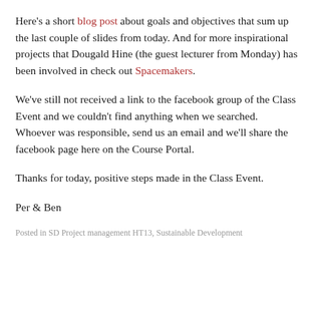Here's a short blog post about goals and objectives that sum up the last couple of slides from today. And for more inspirational projects that Dougald Hine (the guest lecturer from Monday) has been involved in check out Spacemakers.
We've still not received a link to the facebook group of the Class Event and we couldn't find anything when we searched. Whoever was responsible, send us an email and we'll share the facebook page here on the Course Portal.
Thanks for today, positive steps made in the Class Event.
Per & Ben
Posted in SD Project management HT13, Sustainable Development